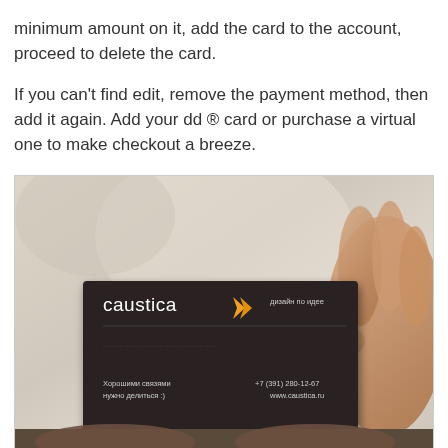minimum amount on it, add the card to the account, proceed to delete the card.

If you can't find edit, remove the payment method, then add it again. Add your dd ® card or purchase a virtual one to make checkout a breeze.
[Figure (photo): A hand holding a dark business card for 'caustica' design company. The card shows the brand name with an orange arrow logo, tagline 'дизайн по идее', contact details including phone +7 (391) 280-12-67 and website www.caustica.ru, and slogan 'Хорошими связями нужно делиться :)'. Background is a light fabric/clothing.]